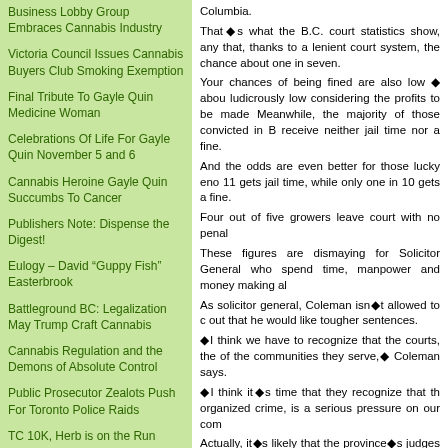Business Lobby Group Embraces Cannabis Industry
Victoria Council Issues Cannabis Buyers Club Smoking Exemption
Final Tribute To Gayle Quin Medicine Woman
Celebrations Of Life For Gayle Quin November 5 and 6
Cannabis Heroine Gayle Quin Succumbs To Cancer
Publishers Note: Dispense the Digest!
Eulogy – David “Guppy Fish” Easterbrook
Battleground BC: Legalization May Trump Craft Cannabis
Cannabis Regulation and the Demons of Absolute Control
Public Prosecutor Zealots Push For Toronto Police Raids
TC 10K, Herb is on the Run
Columbia. That◆s what the B.C. court statistics show, any that, thanks to a lenient court system, the chance about one in seven. Your chances of being fined are also low ◆ abou ludicrously low considering the profits to be made Meanwhile, the majority of those convicted in B receive neither jail time nor a fine. And the odds are even better for those lucky eno 11 gets jail time, while only one in 10 gets a fine. Four out of five growers leave court with no pena These figures are dismaying for Solicitor General who spend time, manpower and money making al As solicitor general, Coleman isn◆t allowed to c out that he would like tougher sentences. ◆I think we have to recognize that the courts, th of the communities they serve,◆ Coleman says. ◆I think it◆s time that they recognize that th organized crime, is a serious pressure on our com Actually, it◆s likely that the province◆s judges communities they serve. For a start, pot-growing is a multibillion-dollar i depend on it for their income. Second, poll after poll shows that a majority of B polls show people want tougher penalties, but d